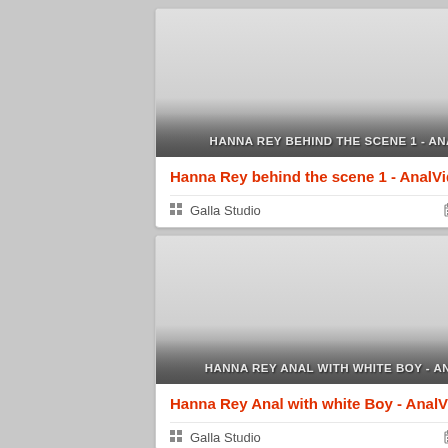[Figure (screenshot): Thumbnail image placeholder with gradient and overlay title text: HANNA REY BEHIND THE SCENE 1 - ANALVIDS]
Hanna Rey behind the scene 1 - AnalVids
Galla Studio   2022-06-24
[Figure (screenshot): Thumbnail image placeholder with gradient and overlay title text: HANNA REY ANAL WITH WHITE BOY - ANALVIDS]
Hanna Rey Anal with white Boy - AnalVids
Galla Studio   2022-06-23